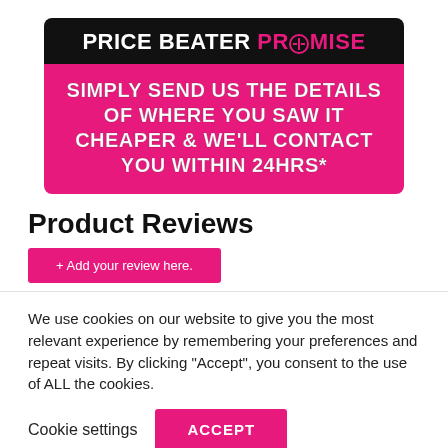[Figure (infographic): Price Beater Promise banner with black top bar showing 'PRICE BEATER PROMISE' and pink/magenta bottom bar with white bold text 'SIMPLY SEND US THE DETAILS OF WHERE YOU SAW IT CHEAPER & WE'LL CONTACT YOU WITHIN 24HRS*']
Product Reviews
+ Add your review here.
We use cookies on our website to give you the most relevant experience by remembering your preferences and repeat visits. By clicking “Accept”, you consent to the use of ALL the cookies.
Cookie settings  ACCEPT